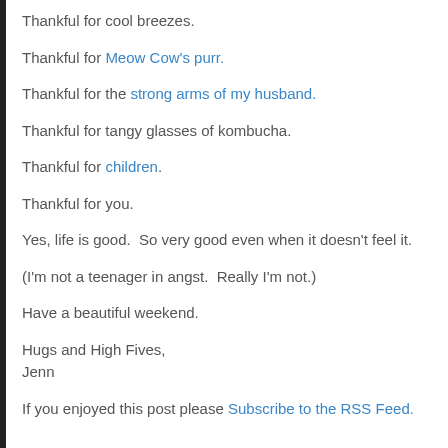Thankful for cool breezes.
Thankful for Meow Cow's purr.
Thankful for the strong arms of my husband.
Thankful for tangy glasses of kombucha.
Thankful for children.
Thankful for you.
Yes, life is good.  So very good even when it doesn't feel it.
(I'm not a teenager in angst.  Really I'm not.)
Have a beautiful weekend.
Hugs and High Fives,
Jenn
If you enjoyed this post please Subscribe to the RSS Feed.